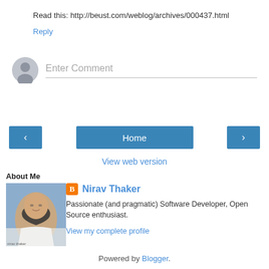Read this: http://beust.com/weblog/archives/000437.html
Reply
[Figure (screenshot): Comment input area with avatar placeholder and 'Enter Comment' text field]
[Figure (screenshot): Navigation buttons: left arrow, Home, right arrow]
View web version
About Me
[Figure (photo): Profile photo of Nirav Thaker, a man with dark hair and glasses, smiling, wearing a white shirt against a blue sky background]
Nirav Thaker
Passionate (and pragmatic) Software Developer, Open Source enthusiast.
View my complete profile
Powered by Blogger.